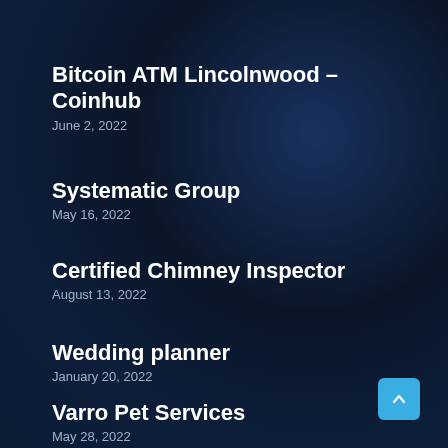Bitcoin ATM Lincolnwood – Coinhub
June 2, 2022
Systematic Group
May 16, 2022
Certified Chimney Inspector
August 13, 2022
Wedding planner
January 20, 2022
Varro Pet Services
May 28, 2022